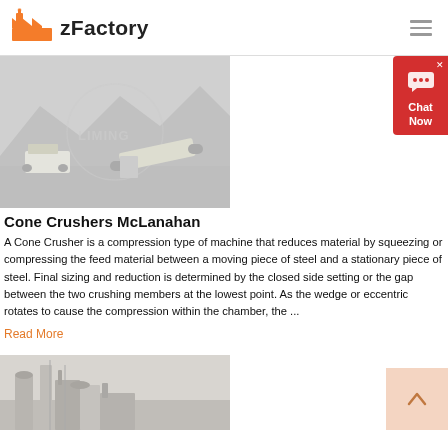zFactory
[Figure (photo): Mobile cone crushers in a quarry/mining site with mountainous background, watermarked LIMING]
Cone Crushers McLanahan
A Cone Crusher is a compression type of machine that reduces material by squeezing or compressing the feed material between a moving piece of steel and a stationary piece of steel. Final sizing and reduction is determined by the closed side setting or the gap between the two crushing members at the lowest point. As the wedge or eccentric rotates to cause the compression within the chamber, the ...
Read More
[Figure (photo): Industrial plant or factory with tall silos and structures]